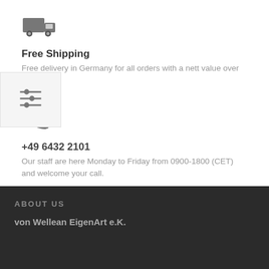[Figure (illustration): Grey delivery truck icon]
Free Shipping
Free delivery in Germany for all orders with a nett value over 00.
[Figure (illustration): Grey filter/sliders icon overlay on left side]
[Figure (illustration): Grey telephone handset icon]
+49 6432 2101
Our staff are here Monday to Friday from 0900-1800 (CET) and welcome your call.
ABOUT US
von Wellean EigenArt e.K.